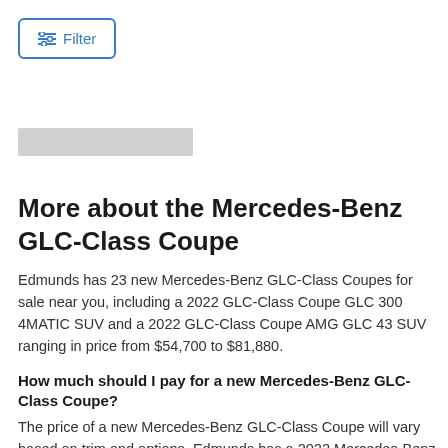[Figure (other): Filter button with sliders icon and blue border]
[Figure (other): Gray placeholder bar (partially visible image or banner)]
More about the Mercedes-Benz GLC-Class Coupe
Edmunds has 23 new Mercedes-Benz GLC-Class Coupes for sale near you, including a 2022 GLC-Class Coupe GLC 300 4MATIC SUV and a 2022 GLC-Class Coupe AMG GLC 43 SUV ranging in price from $54,700 to $81,880.
How much should I pay for a new Mercedes-Benz GLC-Class Coupe?
The price of a new Mercedes-Benz GLC-Class Coupe will vary based on trim and options. Edmunds has a 2022 Mercedes-Benz GLC-Class Coupe GLC 300 4MATIC SUV available for $62,810, and a 2022 Mercedes-Benz GLC-Class Coupe GLC 300 4MATIC SUV for $58,360. Try